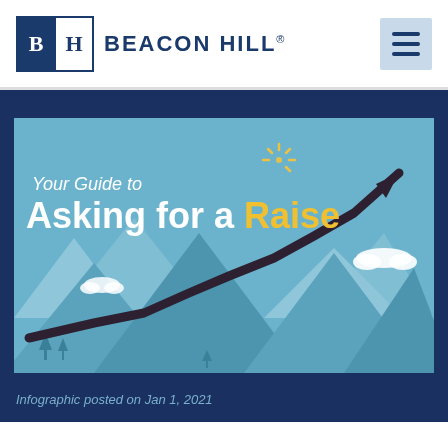BEACON HILL®
[Figure (infographic): Infographic titled 'Your Guide to Asking for a Raise' showing a line chart arrow trending upward over stylized mountain peaks on a light blue background. The word 'Raise' is highlighted in gold/yellow.]
Infographic posted on Jan 1, 2021